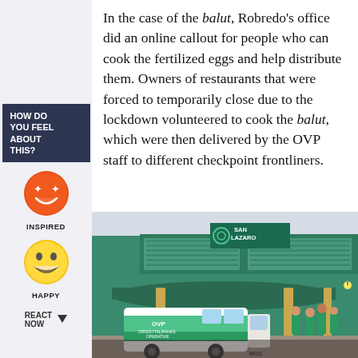HOW DO YOU FEEL ABOUT THIS?
[Figure (illustration): Inspired emoji face (orange/red grinning face with stars for eyes)]
INSPIRED
[Figure (illustration): Happy emoji face (yellow grinning face with big smile)]
HAPPY
REACT NOW
In the case of the balut, Robredo's office did an online callout for people who can cook the fertilized eggs and help distribute them. Owners of restaurants that were forced to temporarily close due to the lockdown volunteered to cook the balut, which were then delivered by the OVP staff to different checkpoint frontliners.
[Figure (photo): Photo of San Lazaro hospital building exterior with a green and white OVP (Office of the Vice President) delivery van parked in front. Several people in green shirts are standing nearby. The building has a green and teal facade with a San Lazaro sign.]